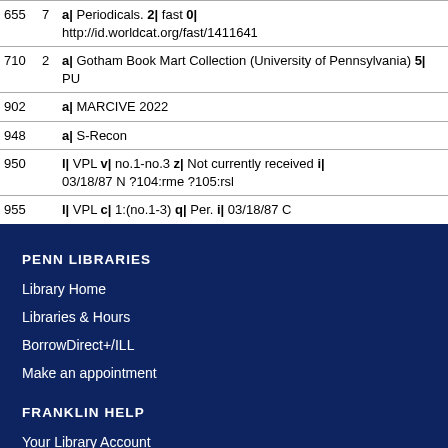| Field | Ind | Data |
| --- | --- | --- |
| 655 | 7 | a| Periodicals. 2| fast 0| http://id.worldcat.org/fast/1411641 |
| 710 | 2 | a| Gotham Book Mart Collection (University of Pennsylvania) 5| PU |
| 902 |  | a| MARCIVE 2022 |
| 948 |  | a| S-Recon |
| 950 |  | l| VPL v| no.1-no.3 z| Not currently received i| 03/18/87 N ?104:rme ?105:rsl |
| 955 |  | l| VPL c| 1:(no.1-3) q| Per. i| 03/18/87 C |
PENN LIBRARIES
Library Home
Libraries & Hours
BorrowDirect+/ILL
Make an appointment
FRANKLIN HELP
Your Library Account